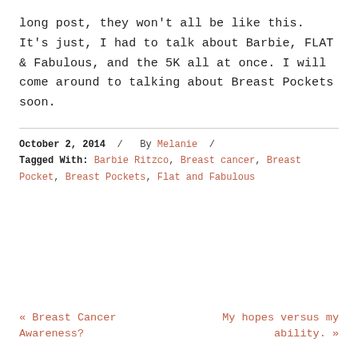long post, they won't all be like this. It's just, I had to talk about Barbie, FLAT & Fabulous, and the 5K all at once. I will come around to talking about Breast Pockets soon.
October 2, 2014 / By Melanie / Tagged With: Barbie Ritzco, Breast cancer, Breast Pocket, Breast Pockets, Flat and Fabulous
« Breast Cancer Awareness?
My hopes versus my ability. »